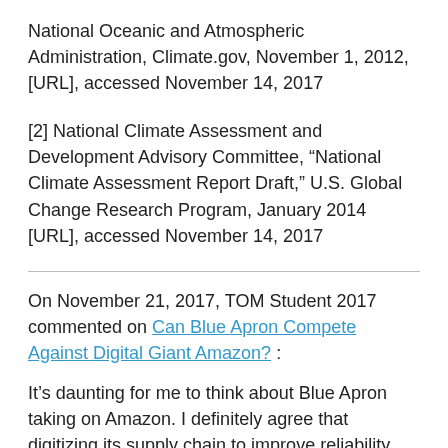National Oceanic and Atmospheric Administration, Climate.gov, November 1, 2012, [URL], accessed November 14, 2017
[2] National Climate Assessment and Development Advisory Committee, “National Climate Assessment Report Draft,” U.S. Global Change Research Program, January 2014 [URL], accessed November 14, 2017
On November 21, 2017, TOM Student 2017 commented on Can Blue Apron Compete Against Digital Giant Amazon? :
It’s daunting for me to think about Blue Apron taking on Amazon. I definitely agree that digitizing its supply chain to improve reliability